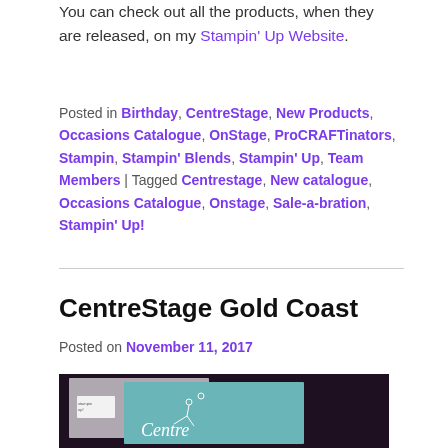You can check out all the products, when they are released, on my Stampin' Up Website.
Posted in Birthday, CentreStage, New Products, Occasions Catalogue, OnStage, ProCRAFTinators, Stampin, Stampin' Blends, Stampin' Up, Team Members | Tagged Centrestage, New catalogue, Occasions Catalogue, Onstage, Sale-a-bration, Stampin' Up!
CentreStage Gold Coast
Posted on November 11, 2017
[Figure (photo): Photo of a CentreStage branded booklet/catalogue on a dark background, with teal/mint coloring and white floral illustrations and the word 'Centre' in white script lettering]